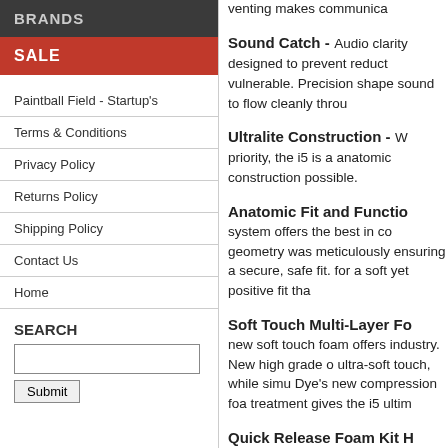BRANDS
SALE
Paintball Field - Startup's
Terms & Conditions
Privacy Policy
Returns Policy
Shipping Policy
Contact Us
Home
SEARCH
Sound Catch - Audio clarity designed to prevent reduction vulnerable. Precision shaped sound to flow cleanly through
Ultralite Construction - W priority, the i5 is a anatomic construction possible.
Anatomic Fit and Functio system offers the best in co geometry was meticulously ensuring a secure, safe fit. for a soft yet positive fit tha
Soft Touch Multi-Layer Fo new soft touch foam offers industry. New high grade o ultra-soft touch, while simu Dye's new compression foa treatment gives the i5 ultim
Quick Release Foam Kit H